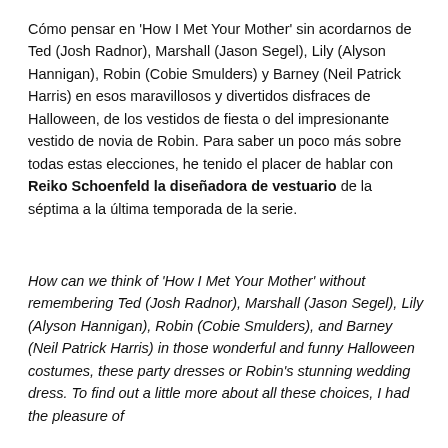Cómo pensar en 'How I Met Your Mother' sin acordarnos de Ted (Josh Radnor), Marshall (Jason Segel), Lily (Alyson Hannigan), Robin (Cobie Smulders) y Barney (Neil Patrick Harris) en esos maravillosos y divertidos disfraces de Halloween, de los vestidos de fiesta o del impresionante vestido de novia de Robin. Para saber un poco más sobre todas estas elecciones, he tenido el placer de hablar con Reiko Schoenfeld la diseñadora de vestuario de la séptima a la última temporada de la serie.
How can we think of 'How I Met Your Mother' without remembering Ted (Josh Radnor), Marshall (Jason Segel), Lily (Alyson Hannigan), Robin (Cobie Smulders), and Barney (Neil Patrick Harris) in those wonderful and funny Halloween costumes, these party dresses or Robin's stunning wedding dress. To find out a little more about all these choices, I had the pleasure of